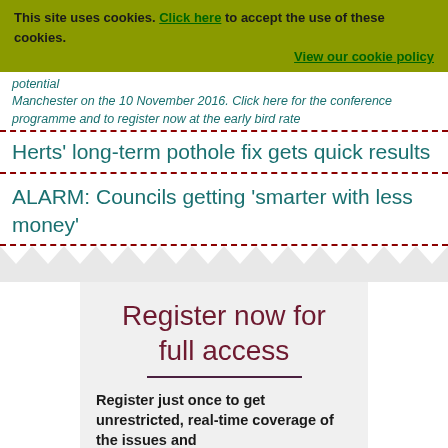This site uses cookies. Click here to accept the use of these cookies. View our cookie policy
Manchester on the 10 November 2016. Click here for the conference programme and to register now at the early bird rate
Herts' long-term pothole fix gets quick results
ALARM: Councils getting 'smarter with less money'
Register now for full access
Register just once to get unrestricted, real-time coverage of the issues and